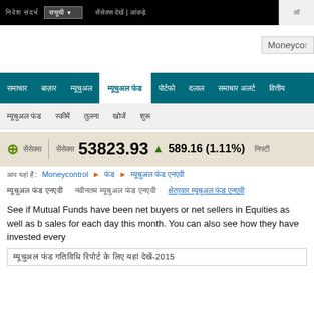[Hindi nav text] [dropdown] [Hindi links] | [Hindi text]
[Figure (logo): Moneycontrol logo (partially visible, clipped at right)]
[Hindi nav items: news, markets, mutual funds, mutual fund NAV (active), portfolio, stockbrokers, news alerts, financial planning]
[Hindi sub-nav: mutual fund NAV, best funds, all funds, compare, search]
53823.93 ▲ 589.16 (1.11%)
[Hindi breadcrumb]: Moneycontrol ▶ [Hindi] ▶ [Hindi mutual fund NAV]
[Hindi section heading]   [Hindi: latest mutual fund NAVs]   [Hindi: sector-wise mutual fund NAVs]
See if Mutual Funds have been net buyers or net sellers in Equities as well as b sales for each day this month. You can also see how they have invested every
[Hindi]: mutual fund NAV activity report-2015